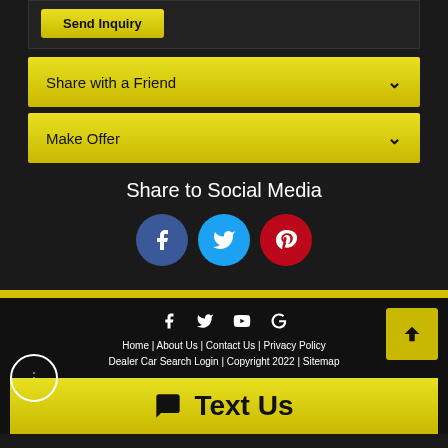[Figure (screenshot): Send Inquiry button area at top of page]
Share with a Friend
Make Offer
Share to Social Media
[Figure (infographic): Social media icons: Facebook (blue circle), Twitter (light blue circle), Pinterest (red circle)]
Home | About Us | Contact Us | Privacy Policy | Dealer Car Search Login | Copyright 2022 | Sitemap
Text Us